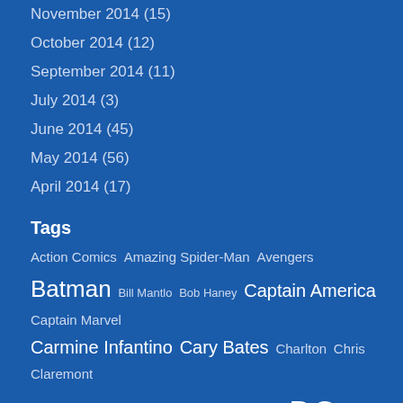November 2014 (15)
October 2014 (12)
September 2014 (11)
July 2014 (3)
June 2014 (45)
May 2014 (56)
April 2014 (17)
Tags
Action Comics Amazing Spider-Man Avengers Batman Bill Mantlo Bob Haney Captain America Captain Marvel Carmine Infantino Cary Bates Charlton Chris Claremont Curt Swan Daredevil Dave Cockrum DC Denny O'Neil